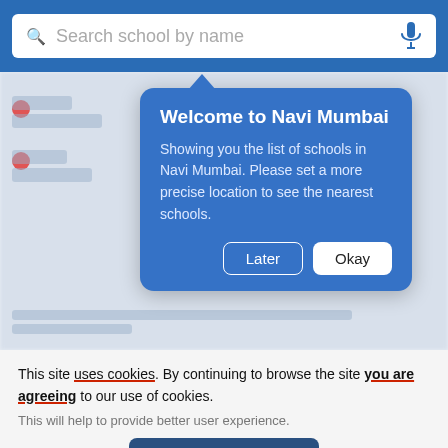[Figure (screenshot): Mobile app search bar with blue background and white search input field saying 'Search school by name' with microphone icon]
[Figure (screenshot): Blurred background of a school listing app showing list items, red location dots, and partially visible buttons]
Welcome to Navi Mumbai
Showing you the list of schools in Navi Mumbai. Please set a more precise location to see the nearest schools.
Later
Okay
This site uses cookies. By continuing to browse the site you are agreeing to our use of cookies.
This will help to provide better user experience.
Ok, I Understand